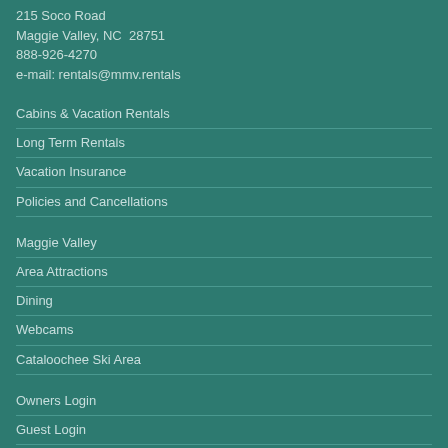215 Soco Road
Maggie Valley, NC  28751
888-926-4270
e-mail: rentals@mmv.rentals
Cabins & Vacation Rentals
Long Term Rentals
Vacation Insurance
Policies and Cancellations
Maggie Valley
Area Attractions
Dining
Webcams
Cataloochee Ski Area
Owners Login
Guest Login